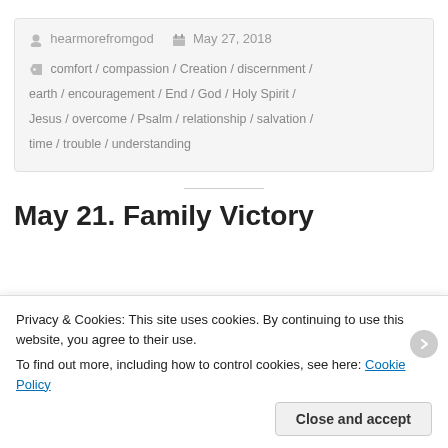hearmorefromgod   May 27, 2018
comfort / compassion / Creation / discernment / earth / encouragement / End / God / Holy Spirit / Jesus / overcome / Psalm / relationship / salvation / time / trouble / understanding
May 21. Family Victory
Privacy & Cookies: This site uses cookies. By continuing to use this website, you agree to their use.
To find out more, including how to control cookies, see here: Cookie Policy
Close and accept